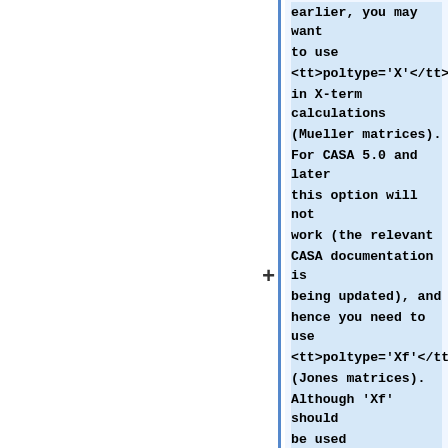earlier, you may want to use <tt>poltype='X'</tt> in X-term calculations (Mueller matrices). For CASA 5.0 and later this option will not work (the relevant CASA documentation is being updated), and hence you need to use <tt>poltype='Xf'</tt> (Jones matrices). Although 'Xf' should be used predominantly for large bandwidths, which clearly is not the case here, it can also be used for the single channel old VLA data as long as you make sure the